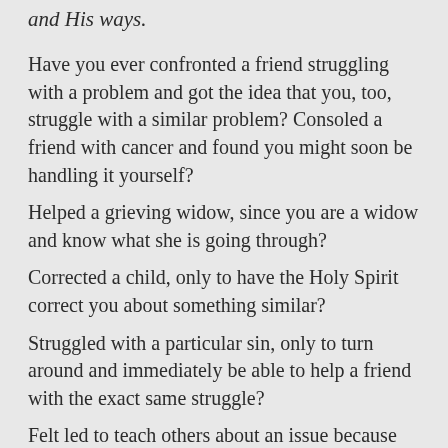and His ways.
Have you ever confronted a friend struggling with a problem and got the idea that you, too, struggle with a similar problem? Consoled a friend with cancer and found you might soon be handling it yourself?
Helped a grieving widow, since you are a widow and know what she is going through?
Corrected a child, only to have the Holy Spirit correct you about something similar?
Struggled with a particular sin, only to turn around and immediately be able to help a friend with the exact same struggle?
Felt led to teach others about an issue because you had worked through it yourself?
Scolded a puppy for not minding you and knew instantly that